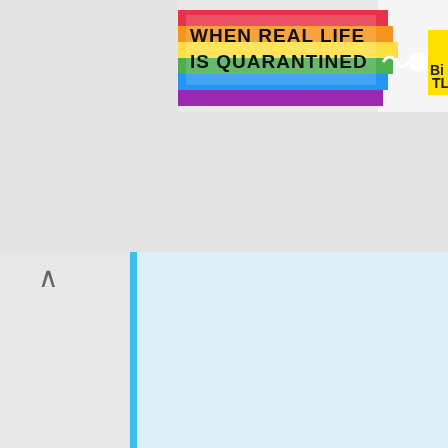[Figure (screenshot): Top banner advertisement: rainbow gradient background with text 'WHEN REAL LIFE IS QUARANTINED' and 'BiTL' logo on right side]
[Figure (screenshot): Product listing strip showing four card-making craft product thumbnails with titles, prices, and green Add to Cart buttons]
Card Making Downloads on Craftsuprint
https://www.craftsuprint.com/card-making/
Price: $ 0.65. Add To Cart. Exclusive. SELFIES – Decoupage By Cynthia – Designed & Made To Be Different. Now: $ 1.00. Add To Cart. Site Navigation Login
GLOBAL